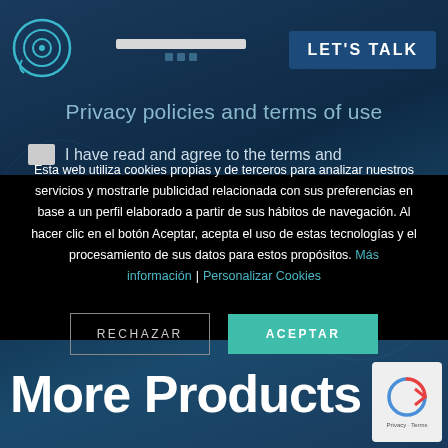[Figure (screenshot): Website screenshot showing a dark blue background with a circular logo on the top left, a navigation bar with input fields, and a 'LET'S TALK' button on the top right.]
Privacy policies and terms of use
I have read and agree to the terms and
Esta web utiliza cookies propias y de terceros para analizar nuestros servicios y mostrarle publicidad relacionada con sus preferencias en base a un perfil elaborado a partir de sus hábitos de navegación. Al hacer clic en el botón Aceptar, acepta el uso de estas tecnologías y el procesamiento de sus datos para estos propósitos. Más información | Personalizar Cookies
RECHAZAR
ACEPTAR
More Products
[Figure (logo): reCAPTCHA badge with Privacy and Terms text]